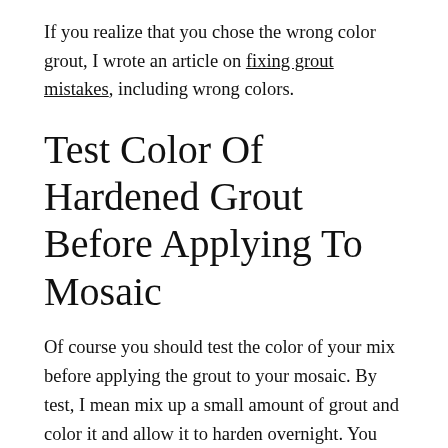If you realize that you chose the wrong color grout, I wrote an article on fixing grout mistakes, including wrong colors.
Test Color Of Hardened Grout Before Applying To Mosaic
Of course you should test the color of your mix before applying the grout to your mosaic. By test, I mean mix up a small amount of grout and color it and allow it to harden overnight. You need to know what the grout looks like when it is hardened and dry before you even consider applying it. Keep in mind that grout always looks less intense and